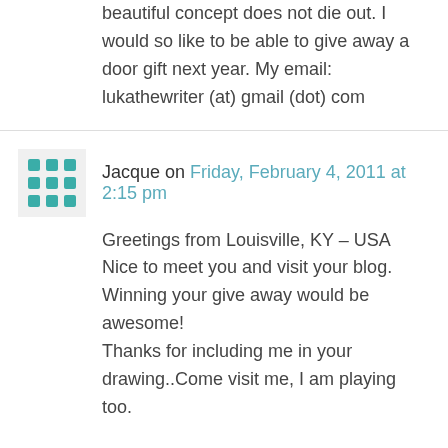beautiful concept does not die out. I would so like to be able to give away a door gift next year. My email: lukathewriter (at) gmail (dot) com
Jacque on Friday, February 4, 2011 at 2:15 pm
Greetings from Louisville, KY – USA
Nice to meet you and visit your blog.
Winning your give away would be awesome!
Thanks for including me in your drawing..Come visit me, I am playing too.

jacque4u2c.blogspot.com
jacque4u2c@gmail.com
Kim on Friday, February 4, 2011 at 3:43 pm